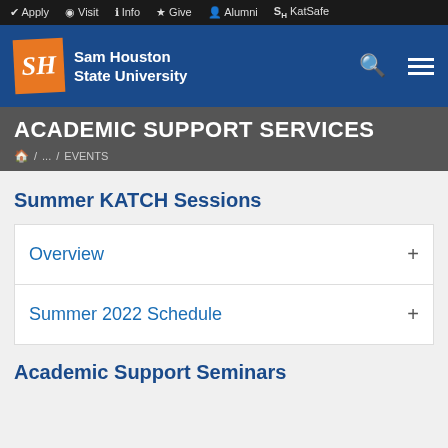✔ Apply  ◉ Visit  ℹ Info  ★ Give  👤 Alumni  SH KatSafe
[Figure (logo): Sam Houston State University logo with orange SH box and white text on blue nav bar]
ACADEMIC SUPPORT SERVICES
🏠 / ... / EVENTS
Summer KATCH Sessions
Overview +
Summer 2022 Schedule +
Academic Support Seminars